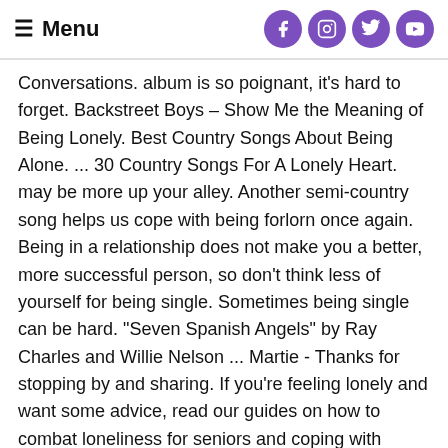Menu
Conversations. album is so poignant, it's hard to forget. Backstreet Boys – Show Me the Meaning of Being Lonely. Best Country Songs About Being Alone. ... 30 Country Songs For A Lonely Heart. may be more up your alley. Another semi-country song helps us cope with being forlorn once again. Being in a relationship does not make you a better, more successful person, so don't think less of yourself for being single. Sometimes being single can be hard. "Seven Spanish Angels" by Ray Charles and Willie Nelson ... Martie - Thanks for stopping by and sharing. If you're feeling lonely and want some advice, read our guides on how to combat loneliness for seniors and coping with loneliness after a loss. When he doesn't survive, his lover takes her own life. , where this song hails from. Depressed songs about being lonely and single? Being the kid in a divorce is one of the toughest,